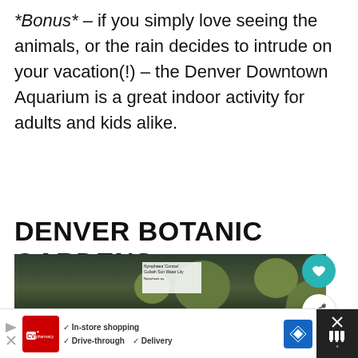*Bonus* – if you simply love seeing the animals, or the rain decides to intrude on your vacation(!) – the Denver Downtown Aquarium is a great indoor activity for adults and kids alike.
DENVER BOTANIC GARDENS
[Figure (photo): Water lily pond with pink lotus flowers and green lily pads floating on dark water, with a small plant identification sign]
[Figure (screenshot): Advertisement bar for CVS Pharmacy showing In-store shopping, Drive-through, and Delivery checkmarks, with a blue navigation icon and close button]